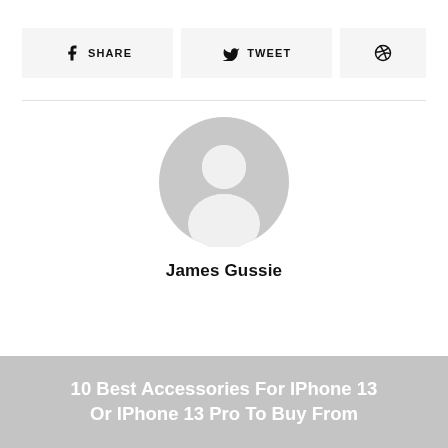[Figure (other): Social sharing buttons: SHARE (Facebook), TWEET (Twitter), Pinterest icon]
[Figure (illustration): Generic circular user avatar placeholder in grey showing a person silhouette]
James Gussie
10 Best Accessories For IPhone 13 Or IPhone 13 Pro To Buy From